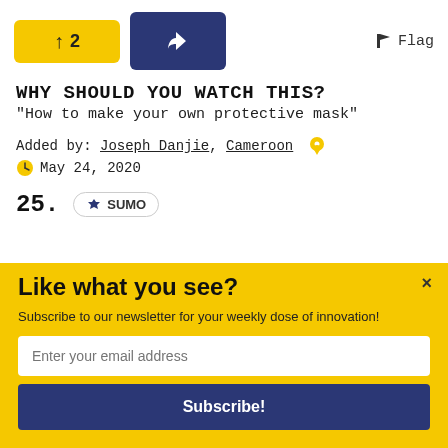[Figure (other): Vote up button with upward arrow and number 2, yellow background; Share button with arrow icon, dark navy background; Flag label on the right]
WHY SHOULD YOU WATCH THIS?
"How to make your own protective mask"
Added by: Joseph Danjie, Cameroon 📍
🕐 May 24, 2020
25.
[Figure (logo): SUMO badge with crown icon]
Like what you see?
Subscribe to our newsletter for your weekly dose of innovation!
Enter your email address
Subscribe!